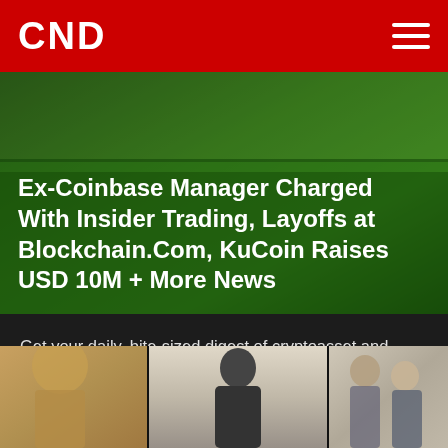CND
Ex-Coinbase Manager Charged With Insider Trading, Layoffs at Blockchain.Com, KuCoin Raises USD 10M + More News
Get your daily, bite-sized digest of cryptoasset and blockchain-related news – investigating the stories flying under the radar of today's crypto news.  _….
4 weeks ago | cryptonews.com
[Figure (photo): Bottom strip showing three panels: blonde woman on left, person in dark jacket in center against light wall, and two people on right side]